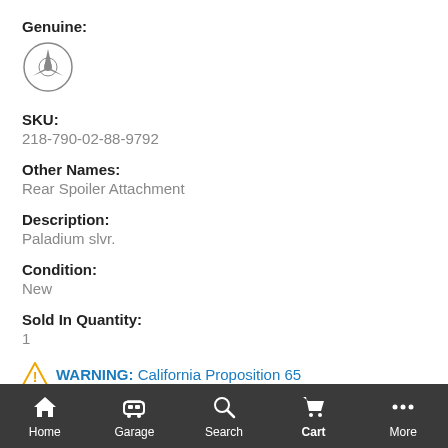Genuine:
[Figure (logo): Mercedes-Benz three-pointed star logo in a circle]
SKU:
218-790-02-88-9792
Other Names:
Rear Spoiler Attachment
Description:
Paladium slvr.
Condition:
New
Sold In Quantity:
1
WARNING: California Proposition 65
ALSO PURCHASED
Home  Garage  Search  Cart  More